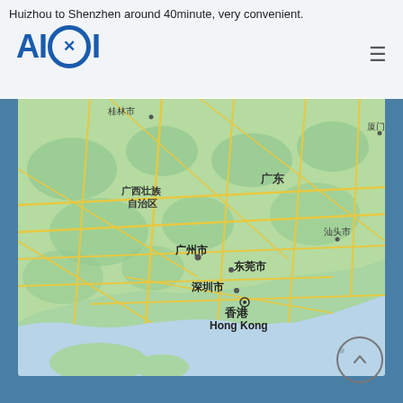Huizhou to Shenzhen around 40minute, very convenient.
[Figure (map): Map of southern China and coastal region showing Guangdong province, Guangxi Zhuang Autonomous Region, cities including 广州市 (Guangzhou), 深圳市 (Shenzhen), 东莞市 (Dongguan), 香港/Hong Kong, 汕头市 (Shantou), 桂林市 (Guilin), 厦门 (Xiamen). Road network shown in yellow/gold on green terrain with blue ocean to the south.]
AIXI logo with navigation menu